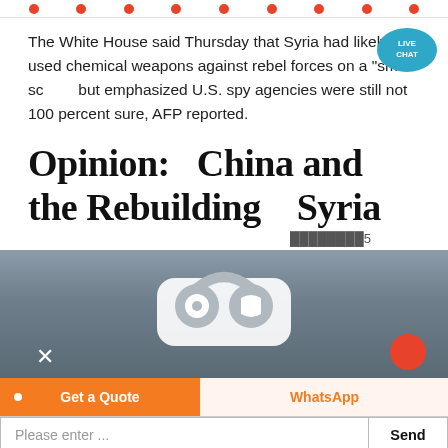[Figure (photo): Top strip showing red dots/circles on white background, partial view of an image]
The White House said Thursday that Syria had likely used chemical weapons against rebel forces on a “small scale,” but emphasized U.S. spy agencies were still not 100 percent sure, AFP reported.
[Figure (infographic): Live Chat speech bubble icon with teal/blue color, text LIVE CHAT]
Opinion: China and the Rebuilding of Syria
████████5
[Figure (photo): Image showing headphone/audio icon on grey background with mountain scenery, orange dot at bottom right, chevron arrow at bottom left]
[Figure (screenshot): Bottom UI bar: orange Get a Quote button, WhatsApp button, and chat input field with Send button]